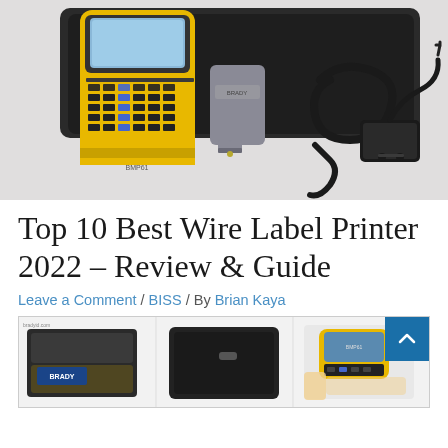[Figure (photo): Product photo of a Brady BMP61 yellow handheld wire label printer with accessories including a gray battery pack, power adapter/charger, and carrying case on a white background.]
Top 10 Best Wire Label Printer 2022 – Review & Guide
Leave a Comment / BISS / By Brian Kaya
[Figure (photo): Product strip showing Brady wire label printer kits in cases and handheld device being operated.]